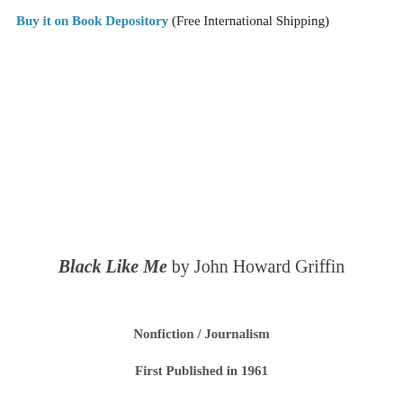Buy it on Book Depository (Free International Shipping)
Black Like Me by John Howard Griffin
Nonfiction / Journalism
First Published in 1961